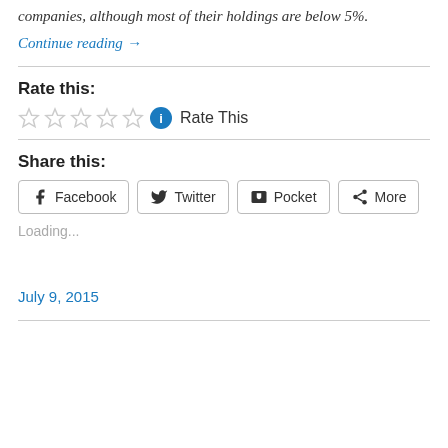companies, although most of their holdings are below 5%.
Continue reading →
Rate this:
[Figure (other): Five empty star rating icons followed by a blue info circle and the text 'Rate This']
Share this:
[Figure (other): Share buttons: Facebook, Twitter, Pocket, More]
Loading...
July 9, 2015